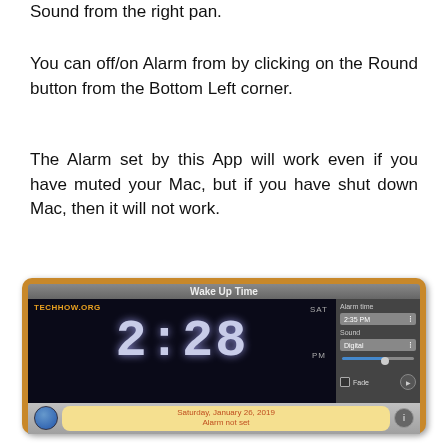Sound from the right pan.
You can off/on Alarm from by clicking on the Round button from the Bottom Left corner.
The Alarm set by this App will work even if you have muted your Mac, but if you have shut down Mac, then it will not work.
[Figure (screenshot): Screenshot of Wake Up Time Mac app showing a digital clock reading 2:28 PM on Saturday, January 26, 2019. The app has a wood-grain border, dark clock face with digital numerals, SAT label, and a right panel with Alarm time (2:35 PM), Sound (Digital), slider, and Fade option. Bottom bar shows a round blue button, date badge 'Saturday, January 26, 2019 / Alarm not set', and info button.]